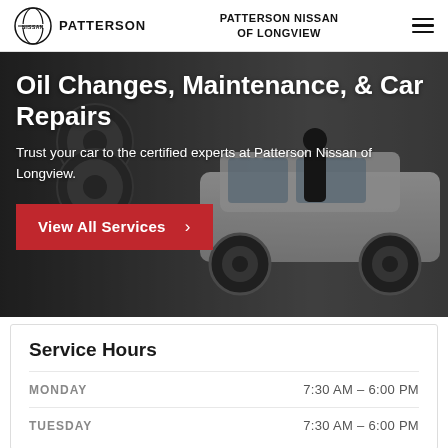NISSAN | PATTERSON | PATTERSON NISSAN OF LONGVIEW
Oil Changes, Maintenance, & Car Repairs
Trust your car to the certified experts at Patterson Nissan of Longview.
View All Services ›
[Figure (photo): Background photo of a service technician working on a white Nissan sedan in a dealership service bay, with tires stacked in the background.]
Service Hours
| Day | Hours |
| --- | --- |
| MONDAY | 7:30 AM – 6:00 PM |
| TUESDAY | 7:30 AM – 6:00 PM |